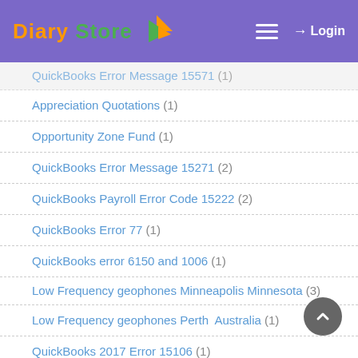Diary Store — Login
QuickBooks Error Message 15571 (1)
Appreciation Quotations (1)
Opportunity Zone Fund (1)
QuickBooks Error Message 15271 (2)
QuickBooks Payroll Error Code 15222 (2)
QuickBooks Error 77 (1)
QuickBooks error 6150 and 1006 (1)
Low Frequency geophones Minneapolis Minnesota (3)
Low Frequency geophones Perth  Australia (1)
QuickBooks 2017 Error 15106 (1)
QuickBooks Enterprise Performance Issues (1)
Melody Beattie (1)